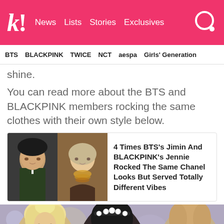k! News  Lists  Stories  Exclusives
BTS  BLACKPINK  TWICE  NCT  aespa  Girls' Generation
shine.
You can read more about the BTS and BLACKPINK members rocking the same clothes with their own style below.
[Figure (photo): Article card with images of BTS Jimin and BLACKPINK Jennie side by side]
4 Times BTS's Jimin And BLACKPINK's Jennie Rocked The Same Chanel Looks But Served Totally Different Vibes
[Figure (photo): Bottom photo showing three K-pop performers — one with blonde hair, one with black hair and pearl headband, one with light brown hair — on a colorful stage background]